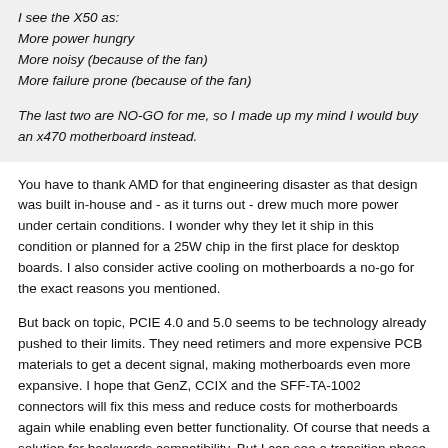I see the X50 as:
More power hungry
More noisy (because of the fan)
More failure prone (because of the fan)

The last two are NO-GO for me, so I made up my mind I would buy an x470 motherboard instead.
You have to thank AMD for that engineering disaster as that design was built in-house and - as it turns out - drew much more power under certain conditions. I wonder why they let it ship in this condition or planned for a 25W chip in the first place for desktop boards. I also consider active cooling on motherboards a no-go for the exact reasons you mentioned.
But back on topic, PCIE 4.0 and 5.0 seems to be technology already pushed to their limits. They need retimers and more expensive PCB materials to get a decent signal, making motherboards even more expansive. I hope that GenZ, CCIX and the SFF-TA-1002 connectors will fix this mess and reduce costs for motherboards again while enabling even better functionality. Of course that needs a solution for backwards compatibility. But I can see a transition phase with these two competing connectors on motherboards and phasing PCIE